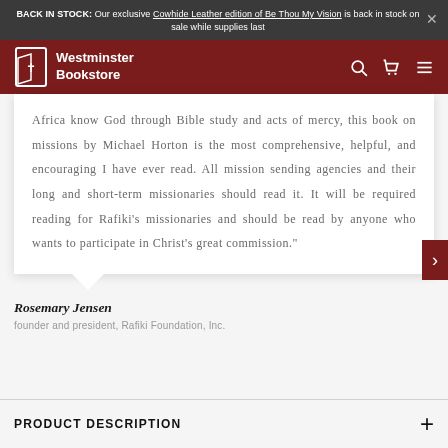BACK IN STOCK: Our exclusive Cowhide Leather edition of Be Thou My Vision is back in stock on sale while supplies last
[Figure (logo): Westminster Bookstore logo with navigation icons]
Africa know God through Bible study and acts of mercy, this book on missions by Michael Horton is the most comprehensive, helpful, and encouraging I have ever read. All mission sending agencies and their long and short-term missionaries should read it. It will be required reading for Rafiki's missionaries and should be read by anyone who wants to participate in Christ's great commission."
Rosemary Jensen
founder and president, Rafiki Foundation, Inc.
PRODUCT DESCRIPTION